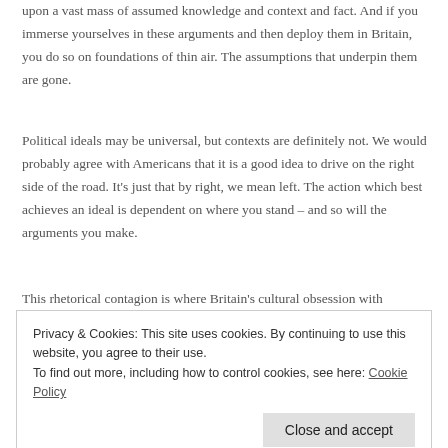upon a vast mass of assumed knowledge and context and fact. And if you immerse yourselves in these arguments and then deploy them in Britain, you do so on foundations of thin air. The assumptions that underpin them are gone.
Political ideals may be universal, but contexts are definitely not. We would probably agree with Americans that it is a good idea to drive on the right side of the road. It's just that by right, we mean left. The action which best achieves an ideal is dependent on where you stand – and so will the arguments you make.
This rhetorical contagion is where Britain's cultural obsession with America becomes unhealthy. When British politicos spend their time
Privacy & Cookies: This site uses cookies. By continuing to use this website, you agree to their use.
To find out more, including how to control cookies, see here: Cookie Policy
Close and accept